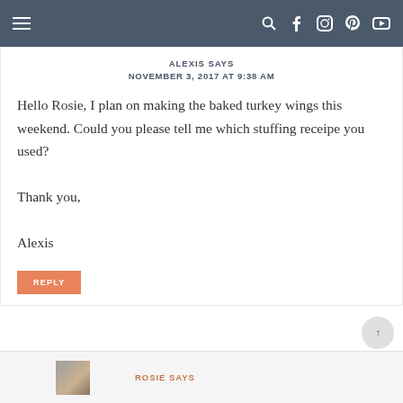Navigation bar with hamburger menu and social icons (search, facebook, instagram, pinterest, youtube)
ALEXIS SAYS
NOVEMBER 3, 2017 AT 9:38 AM
Hello Rosie, I plan on making the baked turkey wings this weekend. Could you please tell me which stuffing receipe you used?

Thank you,

Alexis
REPLY
ROSIE SAYS